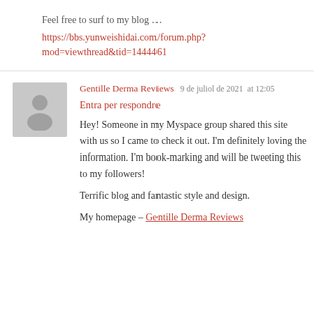Feel free to surf to my blog …
https://bbs.yunweishidai.com/forum.php?mod=viewthread&tid=1444461
Gentille Derma Reviews  9 de juliol de 2021  at 12:05
Entra per respondre
Hey! Someone in my Myspace group shared this site with us so I came to check it out. I'm definitely loving the information. I'm book-marking and will be tweeting this to my followers!
Terrific blog and fantastic style and design.
My homepage – Gentille Derma Reviews